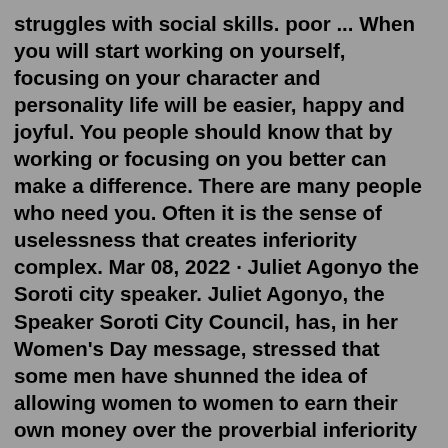struggles with social skills. poor ... When you will start working on yourself, focusing on your character and personality life will be easier, happy and joyful. You people should know that by working or focusing on you better can make a difference. There are many people who need you. Often it is the sense of uselessness that creates inferiority complex. Mar 08, 2022 · Juliet Agonyo the Soroti city speaker. Juliet Agonyo, the Speaker Soroti City Council, has, in her Women's Day message, stressed that some men have shunned the idea of allowing women to women to earn their own money over the proverbial inferiority complex. Agonyo said that much as women remain resilient and courageous with 40% participating ... As the incomprehensible dream haunted him, he continued to wave his sword, for it distracted him from unnecessary thoughts. One day a wandering knight came into the training ground and became interested in Iron . At first he thought his stubbornness was due to an inferiority complex and